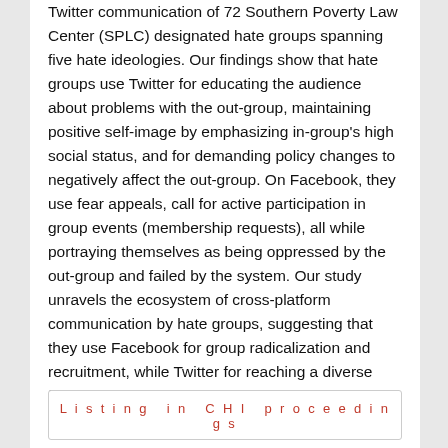Twitter communication of 72 Southern Poverty Law Center (SPLC) designated hate groups spanning five hate ideologies. Our findings show that hate groups use Twitter for educating the audience about problems with the out-group, maintaining positive self-image by emphasizing in-group's high social status, and for demanding policy changes to negatively affect the out-group. On Facebook, they use fear appeals, call for active participation in group events (membership requests), all while portraying themselves as being oppressed by the out-group and failed by the system. Our study unravels the ecosystem of cross-platform communication by hate groups, suggesting that they use Facebook for group radicalization and recruitment, while Twitter for reaching a diverse follower base.
Listing in CHI proceedings